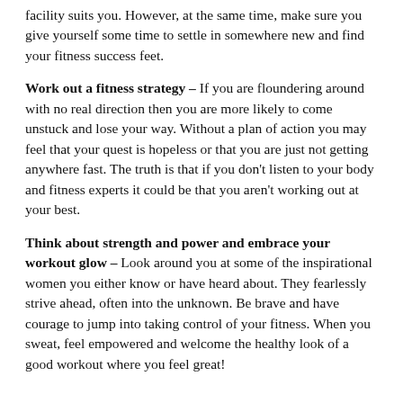facility suits you. However, at the same time, make sure you give yourself some time to settle in somewhere new and find your fitness success feet.
Work out a fitness strategy – If you are floundering around with no real direction then you are more likely to come unstuck and lose your way. Without a plan of action you may feel that your quest is hopeless or that you are just not getting anywhere fast. The truth is that if you don't listen to your body and fitness experts it could be that you aren't working out at your best.
Think about strength and power and embrace your workout glow – Look around you at some of the inspirational women you either know or have heard about. They fearlessly strive ahead, often into the unknown. Be brave and have courage to jump into taking control of your fitness. When you sweat, feel empowered and welcome the healthy look of a good workout where you feel great!